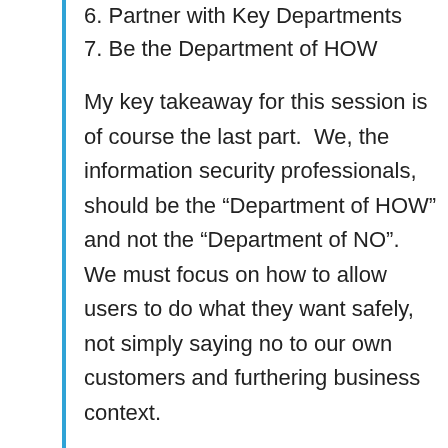6. Partner with Key Departments
7. Be the Department of HOW
My key takeaway for this session is of course the last part.  We, the information security professionals, should be the “Department of HOW” and not the “Department of NO”. We must focus on how to allow users to do what they want safely, not simply saying no to our own customers and furthering business context.